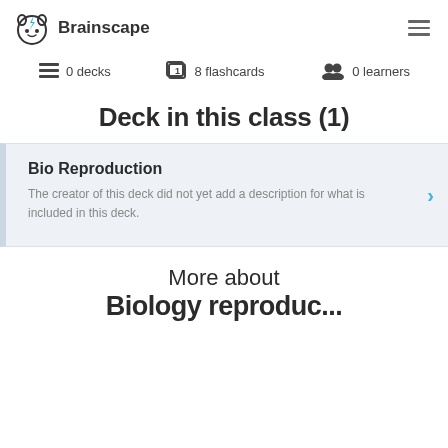Brainscape
0 decks   8 flashcards   0 learners
Deck in this class (1)
Bio Reproduction
The creator of this deck did not yet add a description for what is included in this deck.
More about Biology reproduc...